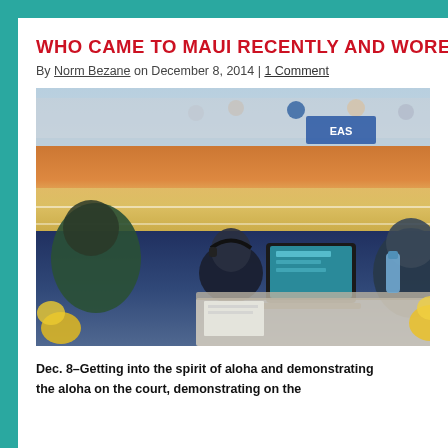WHO CAME TO MAUI RECENTLY AND WORE THE MOST
By Norm Bezane on December 8, 2014 | 1 Comment
[Figure (photo): Basketball court scene with people at a courtside table, including someone wearing headphones and working on a laptop, with an orange-painted court visible in the background and spectators in seats.]
Dec. 8–Getting into the spirit of aloha and demonstrating the aloha on the court, demonstrating on the